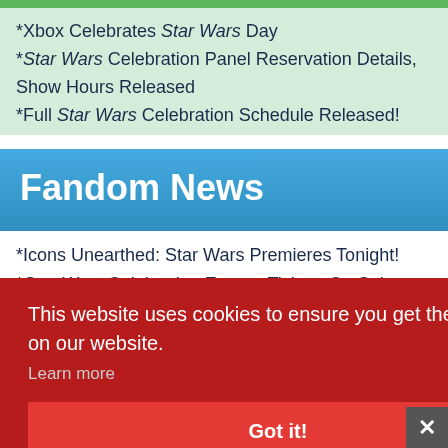*Xbox Celebrates Star Wars Day
*Star Wars Celebration Panel Reservation Details, Show Hours Released
*Full Star Wars Celebration Schedule Released!
Fandom News
*Icons Unearthed: Star Wars Premieres Tonight!
*Star Wars Celebration Europe Tickets On Sale Thursday!
*LEGO Star Wars Summer Vacation Trailer Released!
This website uses cookies to ensure you get the best experience on our website.
Learn more
Got it!